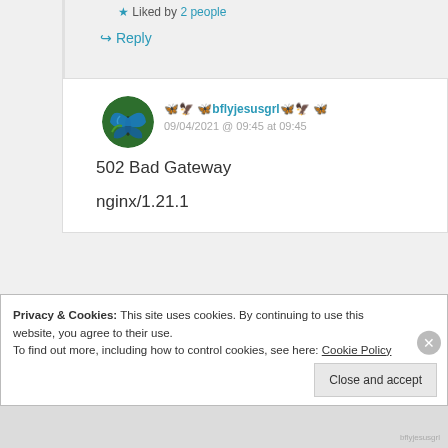★ Liked by 2 people
↪ Reply
🦋🦅🦋bflyjesusgrl🦋🦅🦋
09/04/2021 @ 09:45 at 09:45
502 Bad Gateway
nginx/1.21.1
Privacy & Cookies: This site uses cookies. By continuing to use this website, you agree to their use.
To find out more, including how to control cookies, see here: Cookie Policy
Close and accept